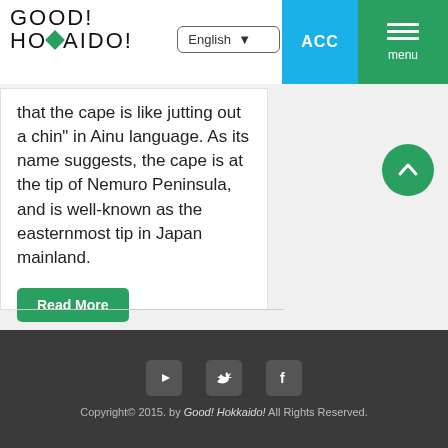[Figure (logo): GOOD! HOKKAIDO! logo with green diamond shape in the word HOKKAIDO]
that the cape is like jutting out a chin" in Ainu language. As its name suggests, the cape is at the tip of Nemuro Peninsula, and is well-known as the easternmost tip in Japan mainland.
Read More
Copyright© 2015. by Good! Hokkaido! All Rights Reserved.